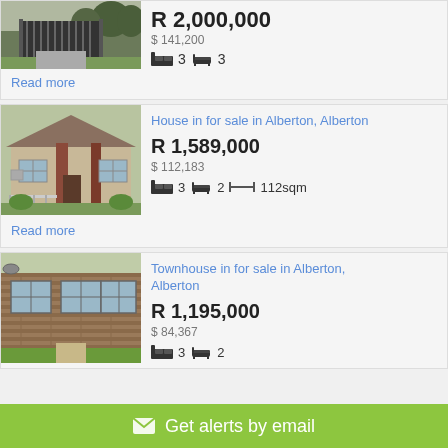[Figure (photo): Partial view of a property with gate and trees]
R 2,000,000
$ 141,200
3 bedrooms, 3 bathrooms
Read more
[Figure (photo): House exterior with porch and gate in Alberton]
House in for sale in Alberton, Alberton
R 1,589,000
$ 112,183
3 bedrooms, 2 bathrooms, 112sqm
Read more
[Figure (photo): Townhouse exterior brick building with windows in Alberton]
Townhouse in for sale in Alberton, Alberton
R 1,195,000
$ 84,367
3 bedrooms, 2 bathrooms
Get alerts by email